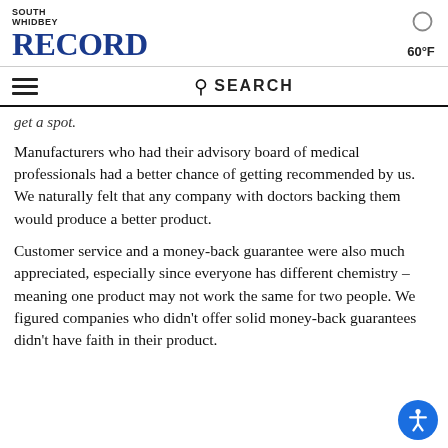SOUTH WHIDBEY RECORD | 60°F
get a spot.
Manufacturers who had their advisory board of medical professionals had a better chance of getting recommended by us. We naturally felt that any company with doctors backing them would produce a better product.
Customer service and a money-back guarantee were also much appreciated, especially since everyone has different chemistry – meaning one product may not work the same for two people. We figured companies who didn't offer solid money-back guarantees didn't have faith in their product.